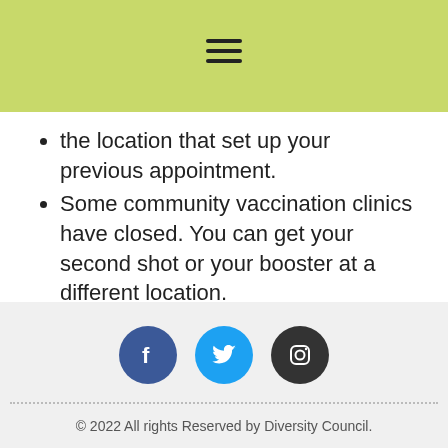[hamburger menu icon]
the location that set up your previous appointment.
Some community vaccination clinics have closed. You can get your second shot or your booster at a different location.
Learn more about getting your COVID-19 vaccine.
[Figure (other): Social media icons: Facebook (blue circle), Twitter (light blue circle), Instagram (dark circle)]
© 2022 All rights Reserved by Diversity Council.